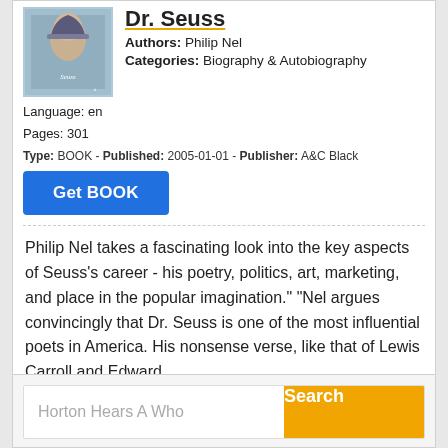Dr. Seuss
Authors: Philip Nel
Categories: Biography & Autobiography
Language: en
Pages: 301
Type: BOOK - Published: 2005-01-01 - Publisher: A&C Black
Get BOOK
Philip Nel takes a fascinating look into the key aspects of Seuss's career - his poetry, politics, art, marketing, and place in the popular imagination." "Nel argues convincingly that Dr. Seuss is one of the most influential poets in America. His nonsense verse, like that of Lewis Carroll and Edward
Horton Hears A Who
Search